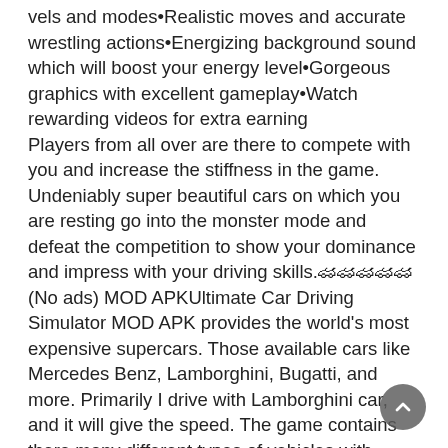vels and modes•Realistic moves and accurate wrestling actions•Energizing background sound which will boost your energy level•Gorgeous graphics with excellent gameplay•Watch rewarding videos for extra earning Players from all over are there to compete with you and increase the stiffness in the game. Undeniably super beautiful cars on which you are resting go into the monster mode and defeat the competition to show your dominance and impress with your driving skills.🏎🏎🏎🏎🏎(No ads) MOD APKUltimate Car Driving Simulator MOD APK provides the world's most expensive supercars. Those available cars like Mercedes Benz, Lamborghini, Bugatti, and more. Primarily I drive with Lamborghini car, and it will give the speed. The game contains there many different types of vehicles with supper power. After winning each level, you can receive some amount rewards. That is helpful to buy your dream cars.Oil Rush: 3D naval strategy Mod Oil Rush: 3D naval strategy Mod (paid) 1.45 Features:Paid for freeOil Rush: 3D naval strategy Mod (paid) 1.45 APK MOD is published on 20